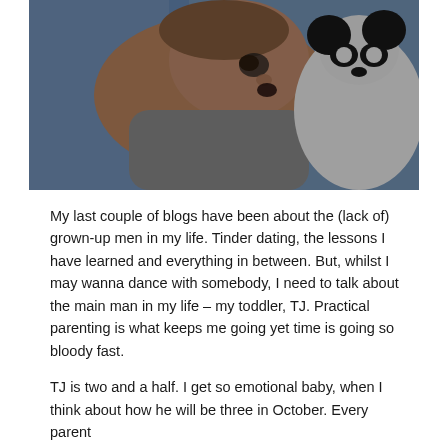[Figure (photo): A toddler lying down with a black and white stuffed animal panda toy, on a blue patterned surface, photographed in low light.]
My last couple of blogs have been about the (lack of) grown-up men in my life. Tinder dating, the lessons I have learned and everything in between. But, whilst I may wanna dance with somebody, I need to talk about the main man in my life – my toddler, TJ. Practical parenting is what keeps me going yet time is going so bloody fast.
TJ is two and a half. I get so emotional baby, when I think about how he will be three in October. Every parent